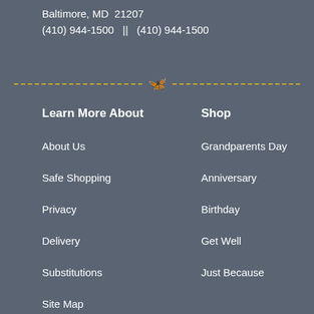Baltimore, MD  21207
(410) 944-1500   ||   (410) 944-1500
[Figure (illustration): Decorative divider with yellow butterfly icon centered between two dashed yellow lines]
Learn More About
Shop
About Us
Grandparents Day
Safe Shopping
Anniversary
Privacy
Birthday
Delivery
Get Well
Substitutions
Just Because
Site Map